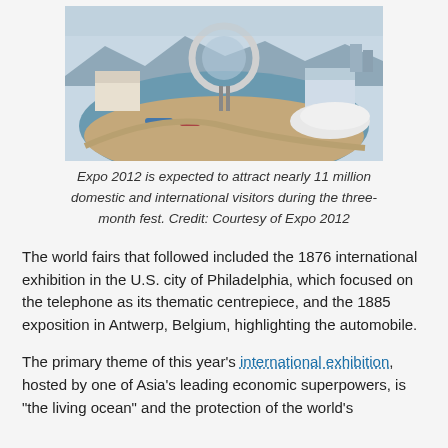[Figure (photo): Aerial view of Expo 2012 venue showing a large circular structure, waterfront area with boats, and exposition grounds in South Korea]
Expo 2012 is expected to attract nearly 11 million domestic and international visitors during the three-month fest. Credit: Courtesy of Expo 2012
The world fairs that followed included the 1876 international exhibition in the U.S. city of Philadelphia, which focused on the telephone as its thematic centrepiece, and the 1885 exposition in Antwerp, Belgium, highlighting the automobile.
The primary theme of this year's international exhibition, hosted by one of Asia's leading economic superpowers, is "the living ocean" and the protection of the world's